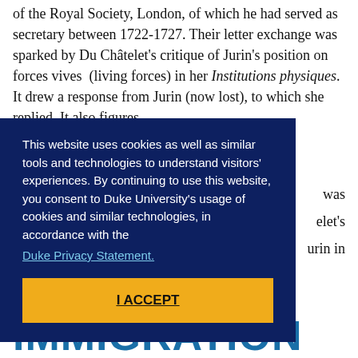of the Royal Society, London, of which he had served as secretary between 1722-1727. Their letter exchange was sparked by Du Châtelet's critique of Jurin's position on forces vives (living forces) in her Institutions physiques. It drew a response from Jurin (now lost), to which she replied. It also figures ... was ...elet's ...urin in
This website uses cookies as well as similar tools and technologies to understand visitors' experiences. By continuing to use this website, you consent to Duke University's usage of cookies and similar technologies, in accordance with the Duke Privacy Statement. | I ACCEPT
CORNERS. HOW IMMIGRATION